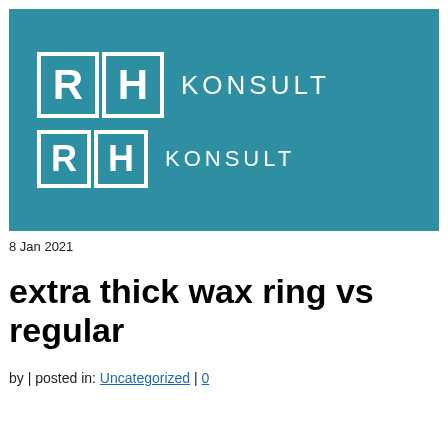[Figure (logo): RH Konsult logo — teal background with two rows each showing stylized 'R' and 'H' letters in outlined white boxes next to the word KONSULT in white sans-serif text]
8 Jan 2021
extra thick wax ring vs regular
by | posted in: Uncategorized | 0